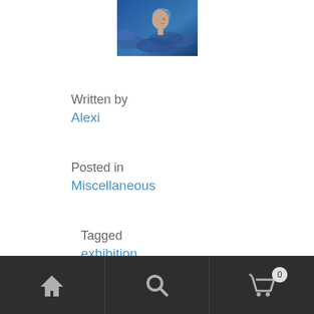[Figure (illustration): A small square artwork showing a profile of a figure with blue tones and cloud-like background]
Written by
Alexi
Posted in
Miscellaneous
Tagged
exhibition
Comments
4 Comments
Home | Search | Cart (0)